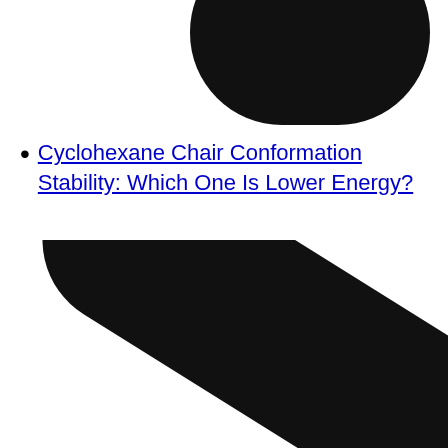[Figure (illustration): Partial view of a black rounded cylindrical shape (molecular model stick/bond segment) cropped at the top of the page]
Cyclohexane Chair Conformation Stability: Which One Is Lower Energy?
[Figure (illustration): Black rounded cylindrical shape (molecular model stick/bond segment) oriented diagonally from upper-left to lower-right, cropped at bottom of page]